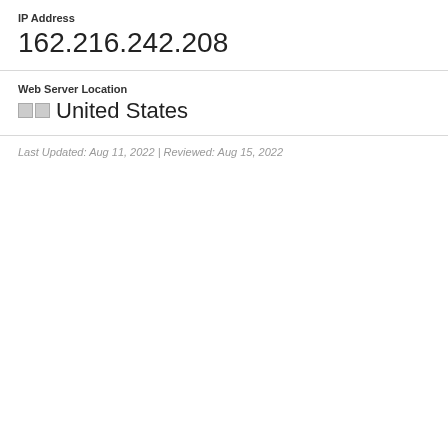IP Address
162.216.242.208
Web Server Location
🇺🇸 United States
Last Updated: Aug 11, 2022 | Reviewed: Aug 15, 2022